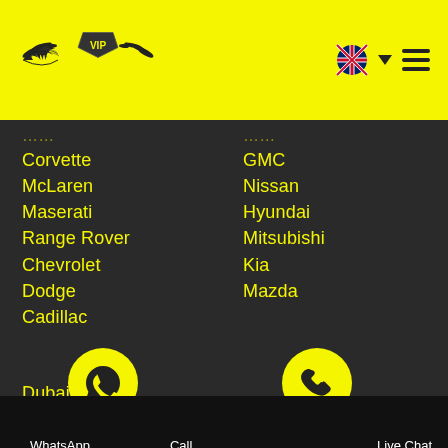[Figure (logo): VIP logo with wings on yellow background]
Corvette
McLaren
Maserati
Range Rover
Chevrolet
Dodge
Cadillac
GMC
Nissan
Hyundai
Mitsubishi
Kia
Mazda
Dubai Marina
Jumeirah Lake Towers
Palm Jumeirah
WhatsApp   Call   Live Chat